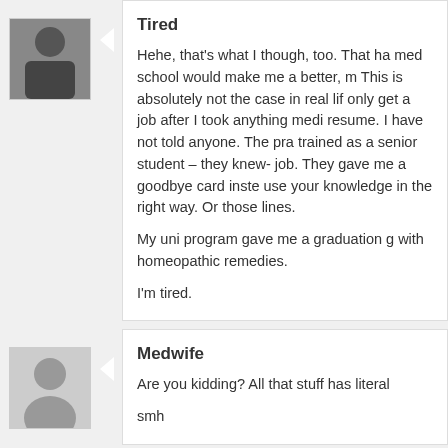Tired
Hehe, that's what I though, too. That ha med school would make me a better, m This is absolutely not the case in real lif only get a job after I took anything medi resume. I have not told anyone. The pra trained as a senior student – they knew- job. They gave me a goodbye card inste use your knowledge in the right way. Or those lines.

My uni program gave me a graduation g with homeopathic remedies.

I'm tired.
Medwife
Are you kidding? All that stuff has literal

smh